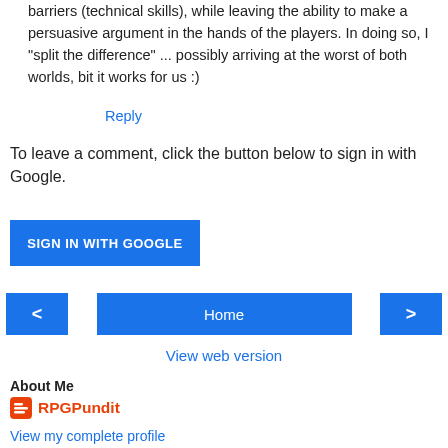barriers (technical skills), while leaving the ability to make a persuasive argument in the hands of the players. In doing so, I "split the difference" ... possibly arriving at the worst of both worlds, bit it works for us :)
Reply
To leave a comment, click the button below to sign in with Google.
[Figure (other): SIGN IN WITH GOOGLE blue button]
[Figure (other): Navigation bar with left arrow, Home button, and right arrow]
View web version
About Me
RPGPundit
View my complete profile